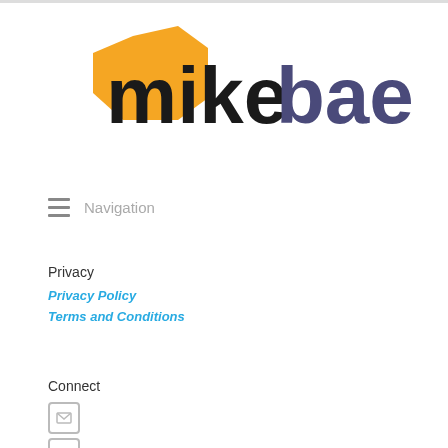[Figure (logo): mikebaer.co logo with orange hexagon shape behind 'mike' in black bold text and 'baer.co' in dark purple/navy bold text]
Navigation
Privacy
Privacy Policy
Terms and Conditions
Connect
[Figure (illustration): Social media icons: email envelope icon, Facebook 'f' icon, and partially visible third icon]